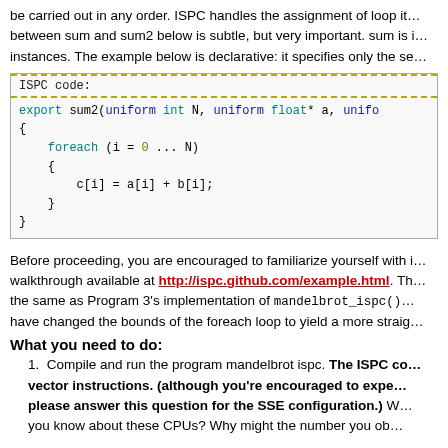be carried out in any order. ISPC handles the assignment of loop it... between sum and sum2 below is subtle, but very important. sum is i... instances. The example below is declarative: it specifies only the se...
[Figure (screenshot): ISPC code block showing: export sum2(uniform int N, uniform float* a, unifo... { foreach (i = 0 ... N) { c[i] = a[i] + b[i]; } }]
Before proceeding, you are encouraged to familiarize yourself with i... walkthrough available at http://ispc.github.com/example.html. Th... the same as Program 3's implementation of mandelbrot_ispc() ... have changed the bounds of the foreach loop to yield a more straig...
What you need to do:
1. Compile and run the program mandelbrot ispc. The ISPC co... vector instructions. (although you're encouraged to expe... please answer this question for the SSE configuration.) W... you know about these CPUs? Why might the number you ob...